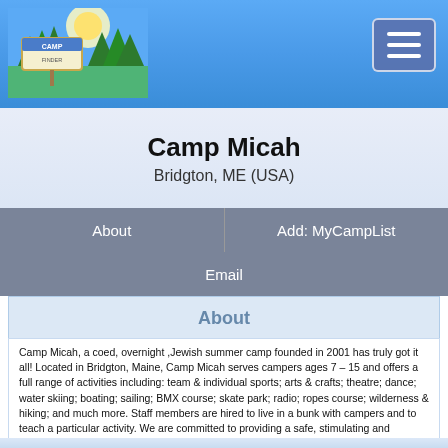[Figure (illustration): Camp Finder website header banner with blue sky background, trees, and Camp Finder logo on the left. Hamburger menu button on the right.]
Camp Micah
Bridgton, ME (USA)
About
Add: MyCampList
Email
About
Camp Micah, a coed, overnight ,Jewish summer camp founded in 2001 has truly got it all! Located in Bridgton, Maine, Camp Micah serves campers ages 7 – 15 and offers a full range of activities including: team & individual sports; arts & crafts; theatre; dance; water skiing; boating; sailing; BMX course; skate park; radio; ropes course; wilderness & hiking; and much more. Staff members are hired to live in a bunk with campers and to teach a particular activity. We are committed to providing a safe, stimulating and challenging environment infused with Jewish traditions and values that promotes the building of self-esteem, social relationships and skill development.